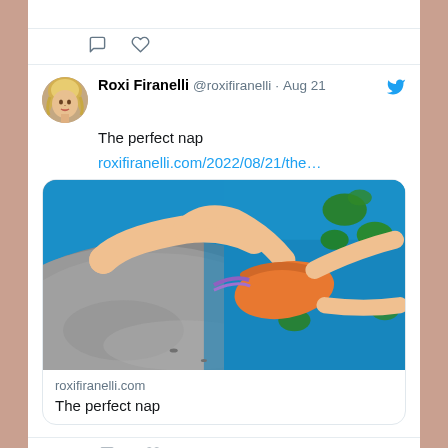[Figure (screenshot): Twitter/X app screenshot showing a tweet by Roxi Firanelli (@roxifiranelli) dated Aug 21. Tweet text: 'The perfect nap' with link roxifiranelli.com/2022/08/21/the… and a link card showing an image of a 3D avatar in an orange bikini reclining near water with lily pads. Card shows domain roxifiranelli.com and title 'The perfect nap'. Actions show 1 like.]